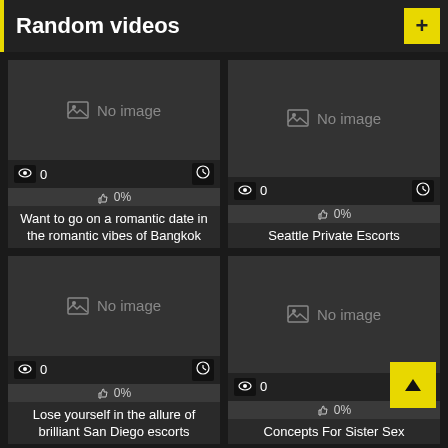Random videos
[Figure (screenshot): Video thumbnail placeholder showing 'No image' with 0 views and 0% likes]
Want to go on a romantic date in the romantic vibes of Bangkok
[Figure (screenshot): Video thumbnail placeholder showing 'No image' with 0 views and 0% likes]
Seattle Private Escorts
[Figure (screenshot): Video thumbnail placeholder showing 'No image' with 0 views and 0% likes]
Lose yourself in the allure of brilliant San Diego escorts
[Figure (screenshot): Video thumbnail placeholder showing 'No image' with 0 views and 0% likes]
Concepts For Sister Sex